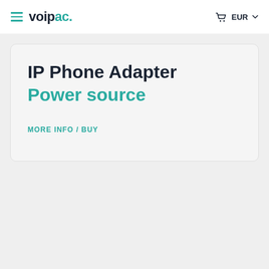voipac. EUR
IP Phone Adapter
Power source
MORE INFO / BUY